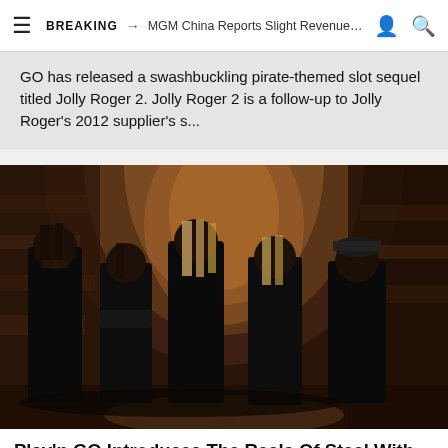BREAKING → MGM China Reports Slight Revenue Incre...
GO has released a swashbuckling pirate-themed slot sequel titled Jolly Roger 2. Jolly Roger 2 is a follow-up to Jolly Roger's 2012 supplier's s...
[Figure (photo): Five people dressed in black standing in a stone archway tunnel, likely a rock band promotional photo]
Play'n GO Introduces The Reels Of Steel With